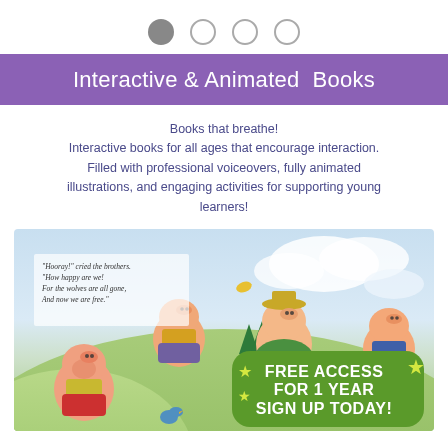[Figure (infographic): Four navigation dots: first filled gray, three empty/outlined circles]
Interactive & Animated Books
Books that breathe!
Interactive books for all ages that encourage interaction. Filled with professional voiceovers, fully animated illustrations, and engaging activities for supporting young learners!
[Figure (illustration): Children's book illustration showing three pigs celebrating on a green hill with text overlay reading: "Hooray!" cried the brothers. "How happy are we! For the wolves are all gone, And now we are free." A green badge overlay reads FREE ACCESS FOR 1 YEAR SIGN UP TODAY!]